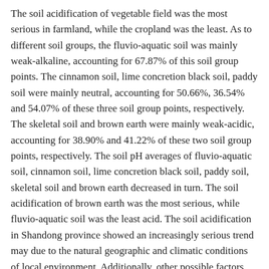The soil acidification of vegetable field was the most serious in farmland, while the cropland was the least. As to different soil groups, the fluvio-aquatic soil was mainly weak-alkaline, accounting for 67.87% of this soil group points. The cinnamon soil, lime concretion black soil, paddy soil were mainly neutral, accounting for 50.66%, 36.54% and 54.07% of these three soil group points, respectively. The skeletal soil and brown earth were mainly weak-acidic, accounting for 38.90% and 41.22% of these two soil group points, respectively. The soil pH averages of fluvio-aquatic soil, cinnamon soil, lime concretion black soil, paddy soil, skeletal soil and brown earth decreased in turn. The soil acidification of brown earth was the most serious, while fluvio-aquatic soil was the least acid. The soil acidification in Shandong province showed an increasingly serious trend may due to the natural geographic and climatic conditions of local environment. Additionally, other possible factors such as different land use types, unreasonable fertilizations and managements were also accountable. By adjusting soil pH value, the contents of soil nutrients could be controlled and the growth of crops could be promoted. &copy; 2016, Editorial Department of the Transactions of the Chinese Society of Agricultural Engineering. All right reserved.